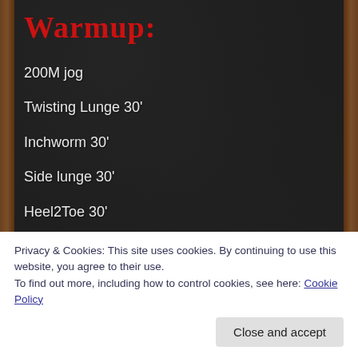Warmup:
200M jog
Twisting Lunge 30'
Inchworm 30'
Side lunge 30'
Heel2Toe 30'
Knee hug to hip opener 30'
6 Wall Walks
Privacy & Cookies: This site uses cookies. By continuing to use this website, you agree to their use.
To find out more, including how to control cookies, see here: Cookie Policy
Close and accept